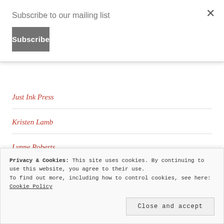Subscribe to our mailing list
Subscribe
Just Ink Press
Kristen Lamb
Lynne Roberts
Musings – Jay Faulkner
Privacy & Cookies: This site uses cookies. By continuing to use this website, you agree to their use. To find out more, including how to control cookies, see here: Cookie Policy
Close and accept